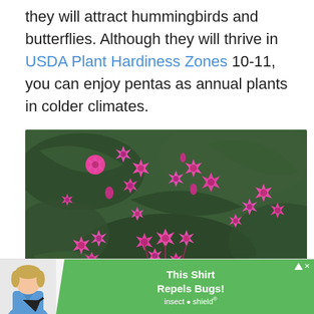they will attract hummingbirds and butterflies. Although they will thrive in USDA Plant Hardiness Zones 10-11, you can enjoy pentas as annual plants in colder climates.
[Figure (photo): Close-up photograph of bright pink pentas flowers (star-shaped clusters) with dark green foliage in the background.]
[Figure (infographic): Advertisement banner: woman in blue shirt with arrow pointing to shirt, green background with text 'This Shirt Repels Bugs! insect o shield' and a play/close button in top right corner.]